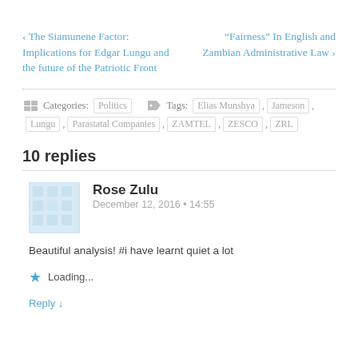‹ The Siamunene Factor: Implications for Edgar Lungu and the future of the Patriotic Front
“Fairness” In English and Zambian Administrative Law ›
Categories: Politics   Tags: Elias Munshya , Jameson , Lungu , Parastatal Companies , ZAMTEL , ZESCO , ZRL
10 replies
Rose Zulu
December 12, 2016 • 14:55
Beautiful analysis! #i have learnt quiet a lot
Loading...
Reply ↓